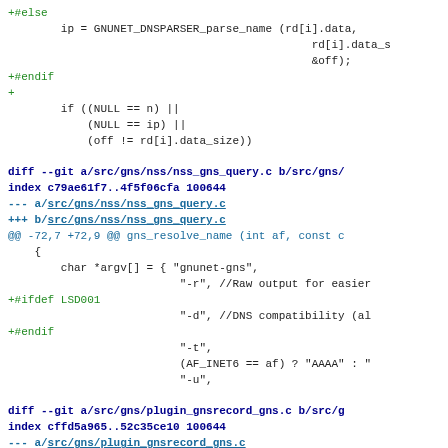Code diff showing changes to GNUnet DNS parser and GNS query files, including #ifdef LSD001 conditional compilation blocks.